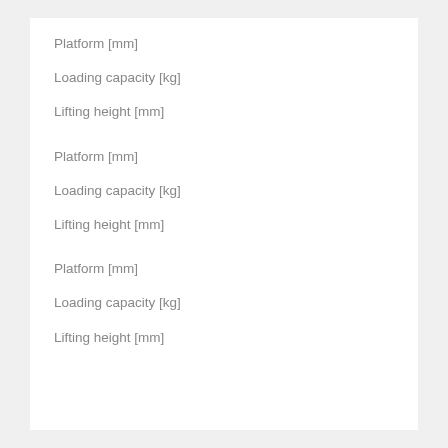Platform [mm]
Loading capacity [kg]
Lifting height [mm]
Platform [mm]
Loading capacity [kg]
Lifting height [mm]
Platform [mm]
Loading capacity [kg]
Lifting height [mm]